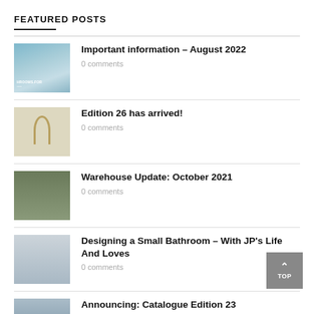FEATURED POSTS
Important information – August 2022 | 0 comments
Edition 26 has arrived! | 0 comments
Warehouse Update: October 2021 | 0 comments
Designing a Small Bathroom – With JP's Life And Loves | 0 comments
Announcing: Catalogue Edition 23